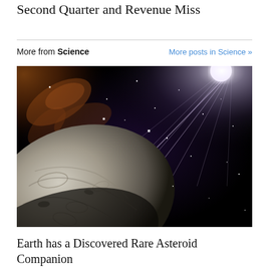Second Quarter and Revenue Miss
More from Science
More posts in Science »
[Figure (illustration): Artist illustration of an asteroid or rocky body in space with a bright star or sun shining in the upper right corner, and what appears to be the Milky Way galaxy visible in the background upper left. The rocky asteroid is depicted in the foreground lower left with a rough cratered texture in gray/white tones, set against a dark space background with stars.]
Earth has a Discovered Rare Asteroid Companion